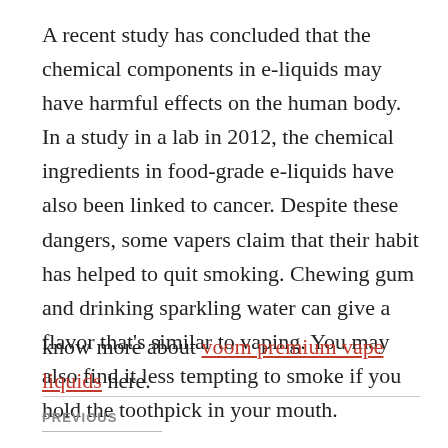A recent study has concluded that the chemical components in e-liquids may have harmful effects on the human body. In a study in a lab in 2012, the chemical ingredients in food-grade e-liquids have also been linked to cancer. Despite these dangers, some vapers claim that their habit has helped to quit smoking. Chewing gum and drinking sparkling water can give a flavor that's similar to vaping. You may also find it less tempting to smoke if you hold the toothpick in your mouth.
know more about voom premium vape liquids here.
PREVIOUS